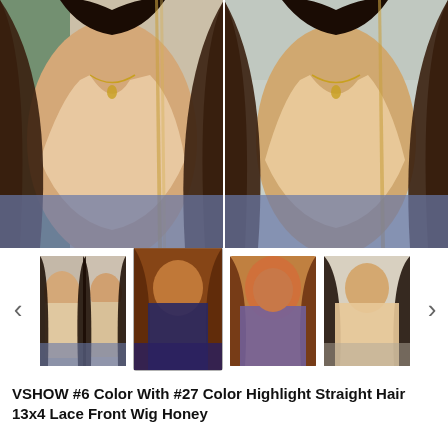[Figure (photo): Two side-by-side photos of a woman wearing a beige/cream tank top with long straight dark hair with blonde highlights, showing a wig product]
[Figure (photo): Thumbnail gallery row with 4 product photos showing different views and styles of the wig, with left and right navigation arrows]
VSHOW #6 Color With #27 Color Highlight Straight Hair 13x4 Lace Front Wig Honey